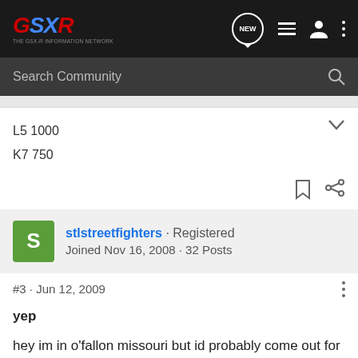GSXR forum navigation bar with logo, NEW button, list icon, user icon, and more options
Search Community
L5 1000
K7 750
stlstreetfighters · Registered
Joined Nov 16, 2008 · 32 Posts
#3 · Jun 12, 2009
yep

hey im in o'fallon missouri but id probably come out for a few rides